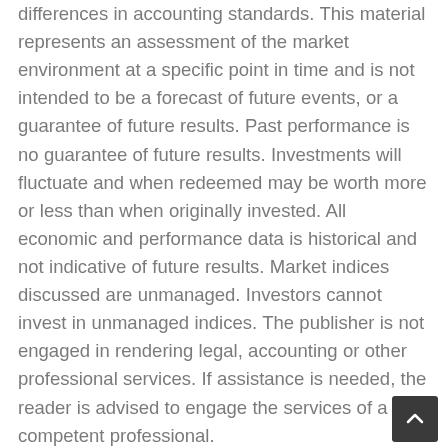differences in accounting standards. This material represents an assessment of the market environment at a specific point in time and is not intended to be a forecast of future events, or a guarantee of future results. Past performance is no guarantee of future results. Investments will fluctuate and when redeemed may be worth more or less than when originally invested. All economic and performance data is historical and not indicative of future results. Market indices discussed are unmanaged. Investors cannot invest in unmanaged indices. The publisher is not engaged in rendering legal, accounting or other professional services. If assistance is needed, the reader is advised to engage the services of a competent professional.